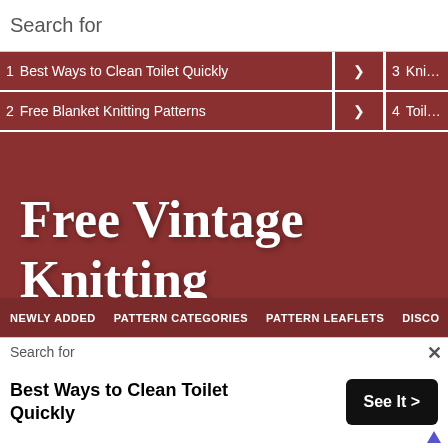Search for
1  Best Ways to Clean Toilet Quickly
2  Free Blanket Knitting Patterns
3  Knitted Vest P...
4  Toilet Roll Hol...
Free Vintage Knitting
NEWLY ADDED   PATTERN CATEGORIES   PATTERN LEAFLETS   DISCO
Search for
Best Ways to Clean Toilet Quickly
See It >